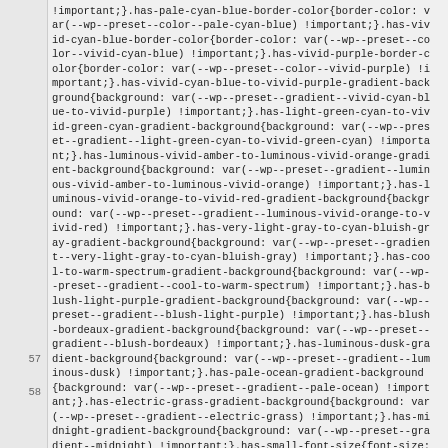CSS code block showing WordPress preset gradient and font-size utility classes, with line numbers 57 and 58 visible.